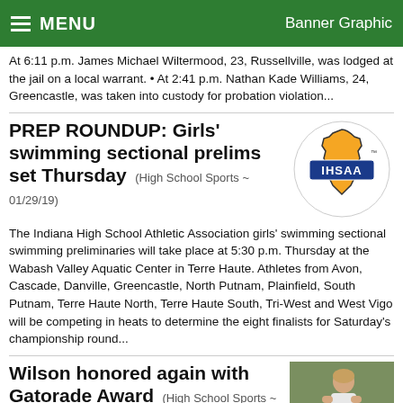MENU   Banner Graphic
At 6:11 p.m. James Michael Wiltermood, 23, Russellville, was lodged at the jail on a local warrant. • At 2:41 p.m. Nathan Kade Williams, 24, Greencastle, was taken into custody for probation violation...
PREP ROUNDUP: Girls' swimming sectional prelims set Thursday (High School Sports ~ 01/29/19)
[Figure (logo): IHSAA Indiana High School Athletic Association logo — gold state of Indiana outline with blue athletic lettering]
The Indiana High School Athletic Association girls' swimming sectional swimming preliminaries will take place at 5:30 p.m. Thursday at the Wabash Valley Aquatic Center in Terre Haute. Athletes from Avon, Cascade, Danville, Greencastle, North Putnam, Plainfield, South Putnam, Terre Haute North, Terre Haute South, Tri-West and West Vigo will be competing in heats to determine the eight finalists for Saturday's championship round...
Wilson honored again with Gatorade Award (High School Sports ~ 01/29/19)
[Figure (photo): Female athlete in athletic wear outdoors on a field]
IHSA How The Gatorade I...